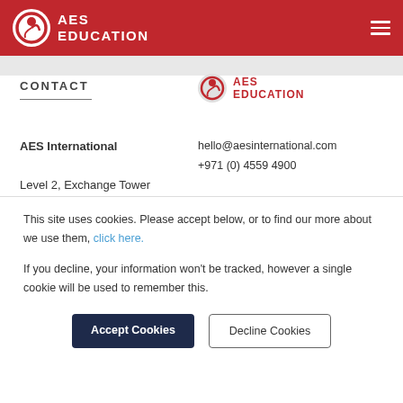AES EDUCATION
CONTACT
[Figure (logo): AES Education logo with circular swirl icon and red text]
hello@aesinternational.com
+971 (0) 4559 4900
AES International

Level 2, Exchange Tower
Al Mustaqbal Street (Future Street)
PO Box 191905
Dubai
United Arab Emirates
[Figure (infographic): Social media icons: LinkedIn, YouTube, Facebook, Twitter, Instagram]
This site uses cookies. Please accept below, or to find our more about we use them, click here.
If you decline, your information won't be tracked, however a single cookie will be used to remember this.
Accept Cookies
Decline Cookies